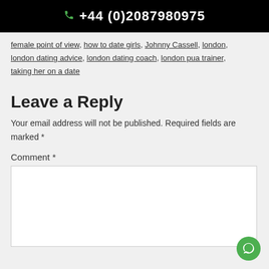+44 (0)2087980975
female point of view, how to date girls, Johnny Cassell, london, london dating advice, london dating coach, london pua trainer, taking her on a date
Leave a Reply
Your email address will not be published. Required fields are marked *
Comment *